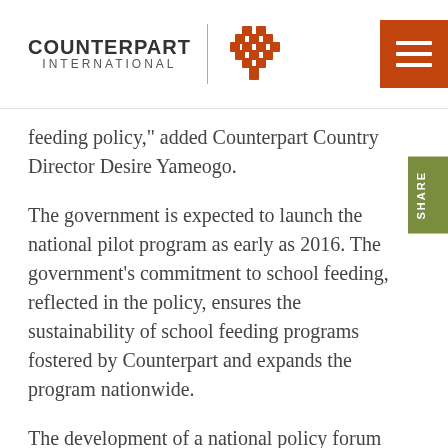[Figure (logo): Counterpart International logo with woven basket icon and vertical divider line]
feeding policy,” added Counterpart Country Director Desire Yameogo.
The government is expected to launch the national pilot program as early as 2016. The government’s commitment to school feeding, reflected in the policy, ensures the sustainability of school feeding programs fostered by Counterpart and expands the program nationwide.
The development of a national policy forum